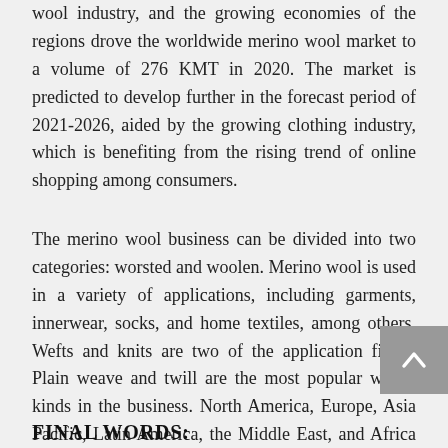wool industry, and the growing economies of the regions drove the worldwide merino wool market to a volume of 276 KMT in 2020. The market is predicted to develop further in the forecast period of 2021-2026, aided by the growing clothing industry, which is benefiting from the rising trend of online shopping among consumers.
The merino wool business can be divided into two categories: worsted and woolen. Merino wool is used in a variety of applications, including garments, innerwear, socks, and home textiles, among others. Wefts and knits are two of the application fields. Plain weave and twill are the most popular weave kinds in the business. North America, Europe, Asia Pacific, Latin America, the Middle East, and Africa are the key regional markets for merino clothing.
FINAL WORDS: